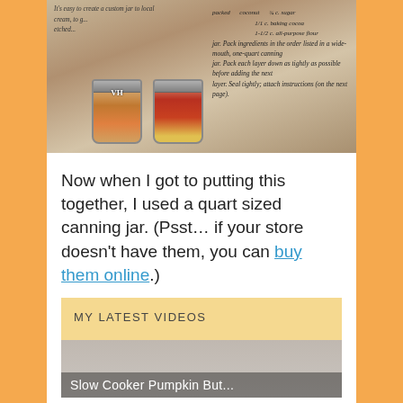[Figure (photo): Photo of an open recipe book showing canning jar recipe instructions with illustrations of two mason jars filled with layered ingredients, and a phone partially visible in the lower left corner.]
Now when I got to putting this together, I used a quart sized canning jar. (Psst… if your store doesn't have them, you can buy them online.)
MY LATEST VIDEOS
[Figure (screenshot): Video thumbnail showing 'Slow Cooker Pumpkin But...' with a grey/blurred background image.]